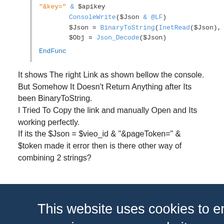[Figure (screenshot): Code snippet showing AutoIt code with syntax highlighting: '&key=' & $apikey, ConsoleWrite($Json & @LF), $Json = BinaryToString(InetRead($Json), 4), $Obj = Json_Decode($Json), EndFunc]
It shows The right Link as shown bellow the console. But Somehow It Doesn't Return Anything after Its been BinaryToString.
I Tried To Copy the link and manually Open and Its working perfectly.
If its the $Json = $vieo_id & "&pageToken=" & $token made it error then is there other way of combining 2 strings?
[Figure (screenshot): Cookie consent overlay on dark blue background: 'This website uses cookies to ensure you get the best experience on our website.' with 'Learn more' link and 'Got it!' button]